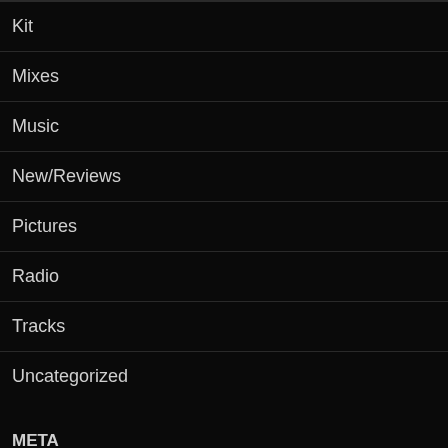Kit
Mixes
Music
New/Reviews
Pictures
Radio
Tracks
Uncategorized
META
Log in
Entries feed